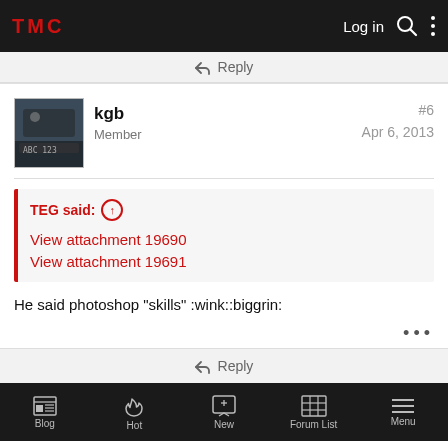TMC | Log in
↩ Reply
kgb
Member
#6
Apr 6, 2013
TEG said: ↑
View attachment 19690
View attachment 19691
He said photoshop "skills" :wink::biggrin:
• • •
↩ Reply
Blog | Hot | New | Forum List | Menu